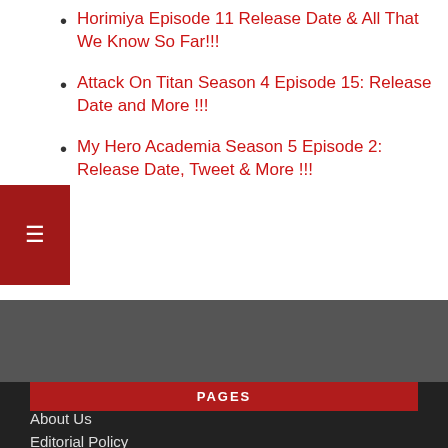Horimiya Episode 11 Release Date & All That We Know So Far!!!
Attack On Titan Season 4 Episode 15: Release Date and More !!!
My Hero Academia Season 5 Episode 2: Release Date, Tweet & More !!!
PAGES
About Us
Editorial Policy
Home
Privacy Policy